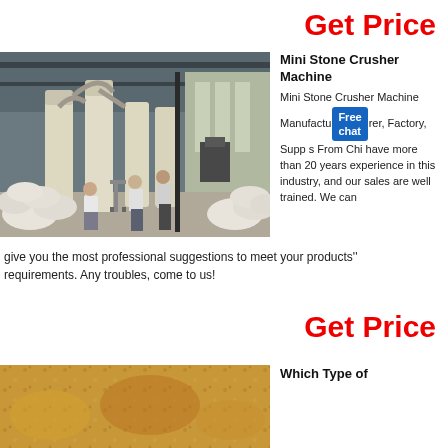Get Price
[Figure (photo): Industrial facility interior showing large cream-colored industrial grinding/milling machines with piping, with workers and white sacked material piled on the floor]
Mini Stone Crusher Machine
Mini Stone Crusher Machine Manufacturer, Factory, Supplier From China, have more than 20 years experience in this industry, and our sales are well trained. We can give you the most professional suggestions to meet your products'' requirements. Any troubles, come to us!
Get Price
[Figure (photo): Partial view of another image at page bottom]
Which Type of